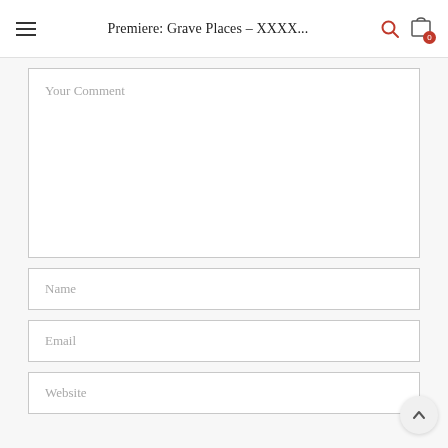Premiere: Grave Places – XXXX...
Your Comment
Name
Email
Website